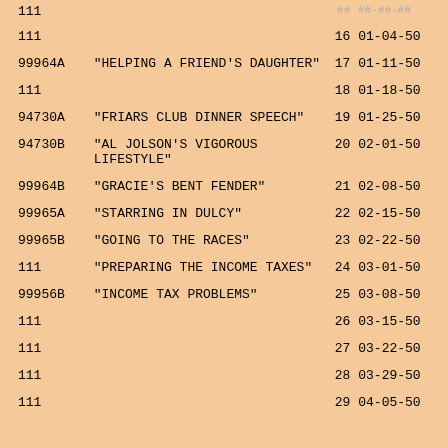| ID | TITLE | EP | DATE |
| --- | --- | --- | --- |
| 111 |  | 16 | 01-04-50 |
| 99964A | "HELPING A FRIEND'S DAUGHTER" | 17 | 01-11-50 |
| 111 |  | 18 | 01-18-50 |
| 94730A | "FRIARS CLUB DINNER SPEECH" | 19 | 01-25-50 |
| 94730B | "AL JOLSON'S VIGOROUS LIFESTYLE" | 20 | 02-01-50 |
| 99964B | "GRACIE'S BENT FENDER" | 21 | 02-08-50 |
| 99965A | "STARRING IN DULCY" | 22 | 02-15-50 |
| 99965B | "GOING TO THE RACES" | 23 | 02-22-50 |
| 111 | "PREPARING THE INCOME TAXES" | 24 | 03-01-50 |
| 99956B | "INCOME TAX PROBLEMS" | 25 | 03-08-50 |
| 111 |  | 26 | 03-15-50 |
| 111 |  | 27 | 03-22-50 |
| 111 |  | 28 | 03-29-50 |
| 111 |  | 29 | 04-05-50 |